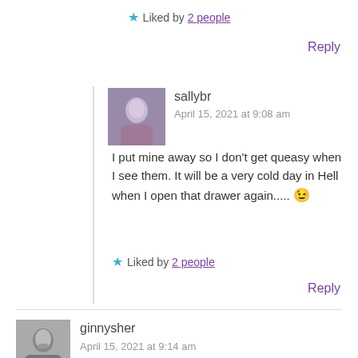★ Liked by 2 people
Reply
sallybr
April 15, 2021 at 9:08 am
I put mine away so I don't get queasy when I see them. It will be a very cold day in Hell when I open that drawer again..... 😉
★ Liked by 2 people
Reply
ginnysher
April 15, 2021 at 9:14 am